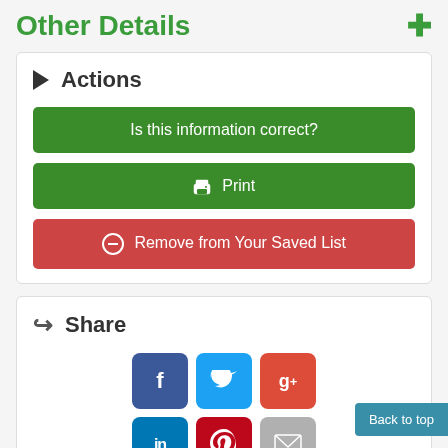Other Details
▶ Actions
Is this information correct?
🖨 Print
⊖ Remove from Your Saved List
↪ Share
[Figure (infographic): Social sharing buttons: Facebook, Twitter, Google+, LinkedIn, Pinterest, Email]
◀ Directions